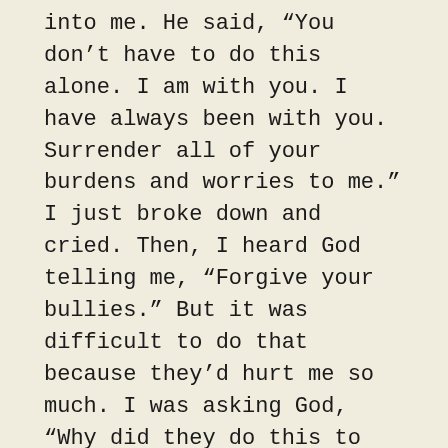into me. He said, “You don’t have to do this alone. I am with you. I have always been with you. Surrender all of your burdens and worries to me.” I just broke down and cried. Then, I heard God telling me, “Forgive your bullies.” But it was difficult to do that because they’d hurt me so much. I was asking God, “Why did they do this to me? I don’t deserve this.” I couldn’t stop crying. Joanna came up to me and said, “Turn to God. Give Him all your worries and fears and just commit to Him.”
When I went back to school, I did forgive my bullies. And I think if I didn’t, I wouldn’t be where I am now. I am glad to say that the people who bullied me are on good terms with me and are now my